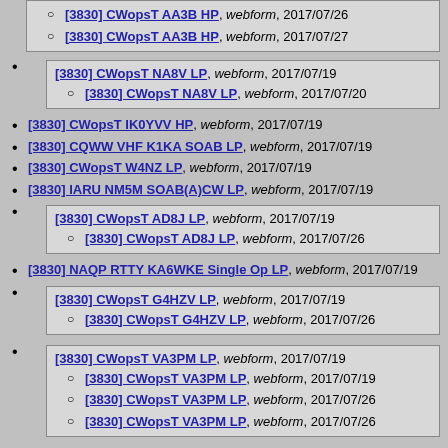[3830] CWopsT AA3B HP, webform, 2017/07/26
[3830] CWopsT AA3B HP, webform, 2017/07/27
[3830] CWopsT NA8V LP, webform, 2017/07/19
[3830] CWopsT NA8V LP, webform, 2017/07/20
[3830] CWopsT IK0YVV HP, webform, 2017/07/19
[3830] CQWW VHF K1KA SOAB LP, webform, 2017/07/19
[3830] CWopsT W4NZ LP, webform, 2017/07/19
[3830] IARU NM5M SOAB(A)CW LP, webform, 2017/07/19
[3830] CWopsT AD8J LP, webform, 2017/07/19
[3830] CWopsT AD8J LP, webform, 2017/07/26
[3830] NAQP RTTY KA6WKE Single Op LP, webform, 2017/07/19
[3830] CWopsT G4HZV LP, webform, 2017/07/19
[3830] CWopsT G4HZV LP, webform, 2017/07/26
[3830] CWopsT VA3PM LP, webform, 2017/07/19
[3830] CWopsT VA3PM LP, webform, 2017/07/19
[3830] CWopsT VA3PM LP, webform, 2017/07/26
[3830] CWopsT VA3PM LP, webform, 2017/07/26